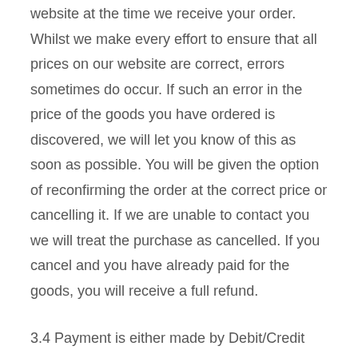website at the time we receive your order. Whilst we make every effort to ensure that all prices on our website are correct, errors sometimes do occur. If such an error in the price of the goods you have ordered is discovered, we will let you know of this as soon as possible. You will be given the option of reconfirming the order at the correct price or cancelling it. If we are unable to contact you we will treat the purchase as cancelled. If you cancel and you have already paid for the goods, you will receive a full refund.
3.4 Payment is either made by Debit/Credit Card or paypal.
3.5 Title to any products you purchase on this website shall pass to you on delivery of the products provided that we have processed and received payment in full for